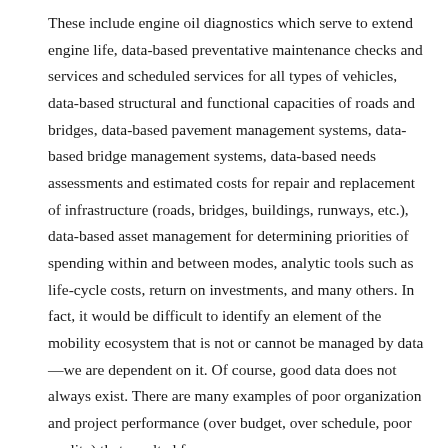These include engine oil diagnostics which serve to extend engine life, data-based preventative maintenance checks and services and scheduled services for all types of vehicles, data-based structural and functional capacities of roads and bridges, data-based pavement management systems, data-based bridge management systems, data-based needs assessments and estimated costs for repair and replacement of infrastructure (roads, bridges, buildings, runways, etc.), data-based asset management for determining priorities of spending within and between modes, analytic tools such as life-cycle costs, return on investments, and many others. In fact, it would be difficult to identify an element of the mobility ecosystem that is not or cannot be managed by data—we are dependent on it. Of course, good data does not always exist. There are many examples of poor organization and project performance (over budget, over schedule, poor quality) that resulted from